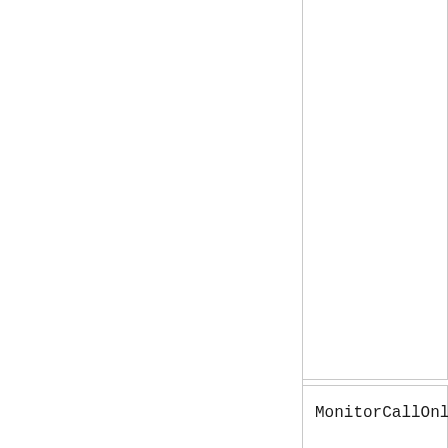[Figure (screenshot): Partial view of a code/API reference page showing a code box (top, blank/content cropped) and a second code box containing 'MonitorCallOnl' (truncated text, likely MonitorCallOnline or similar), followed by a horizontal rule, a section heading starting with 'Configura' (truncated, likely Configuration or Configure), and body text starting with 'This feature us' (truncated).]
Configura
This feature us